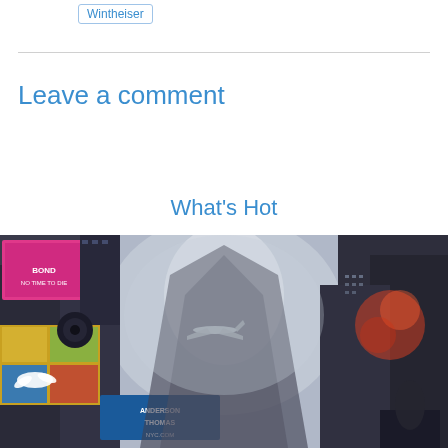Wintheiser
Leave a comment
What's Hot
[Figure (photo): Fisheye/wide-angle upward view of Times Square NYC with skyscrapers, colorful billboards, and an airplane visible in the foggy sky center. Signs include 'Anderson Thomas NYC.com'. Left side shows pink/colorful billboards; right side shows dark skyscrapers with orange lights.]